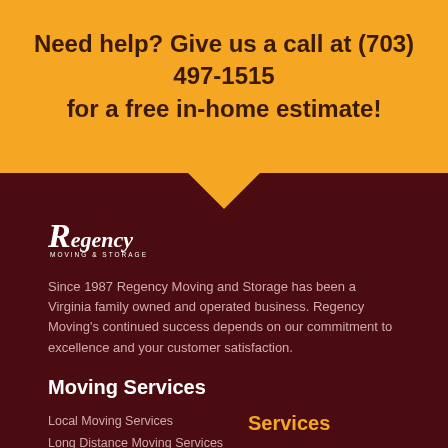Need help? Give us a call at (703) 497-1515 for a free in-home estimate!
[Figure (logo): Regency Moving & Storage logo in white on dark background]
Since 1987 Regency Moving and Storage has been a Virginia family owned and operated business. Regency Moving's continued success depends on our commitment to excellence and your customer satisfaction.
Moving Services
Local Moving Services
Long Distance Moving Services
Services